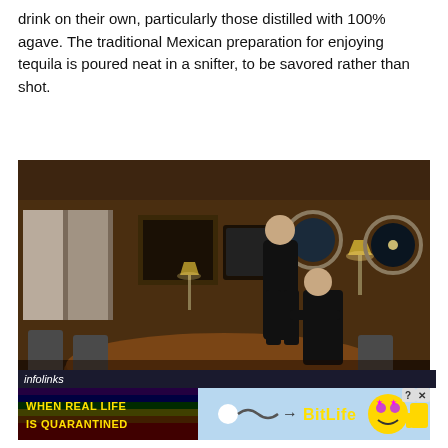drink on their own, particularly those distilled with 100% agave. The traditional Mexican preparation for enjoying tequila is poured neat in a snifter, to be savored rather than shot.
[Figure (photo): A dark interior scene on a yacht or ship cabin with wood paneling, a conference table, chairs, porthole windows, and two men dressed in black — one standing over the other who is seated.]
[Figure (screenshot): An advertisement banner for BitLife game. Left side has rainbow stripes on black background with text 'WHEN REAL LIFE IS QUARANTINED' in bold yellow. Center shows a sperm emoji icon with an arrow pointing to 'BitLife' text in yellow. Right side shows cartoon emoji faces with stars for eyes and a thumbs up, plus close/question mark buttons.]